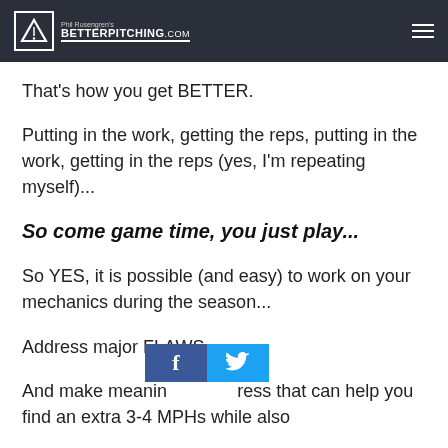Phil Rosengren's BETTERPITCHING.com
That’s how you get BETTER.
Putting in the work, getting the reps, putting in the work, getting in the reps (yes, I’m repeating myself)...
So come game time, you just play...
So YES, it is possible (and easy) to work on your mechanics during the season...
Address major FLAWS...
And make meaningful progress that can help you find an extra 3-4 MPHs while also